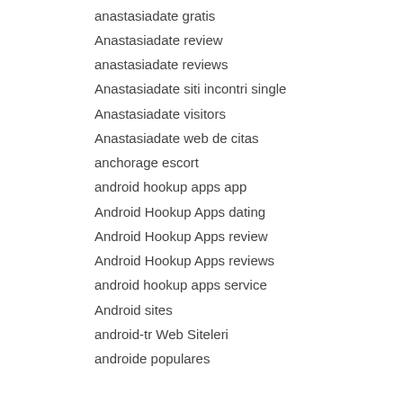anastasiadate gratis
Anastasiadate review
anastasiadate reviews
Anastasiadate siti incontri single
Anastasiadate visitors
Anastasiadate web de citas
anchorage escort
android hookup apps app
Android Hookup Apps dating
Android Hookup Apps review
Android Hookup Apps reviews
android hookup apps service
Android sites
android-tr Web Siteleri
androide populares